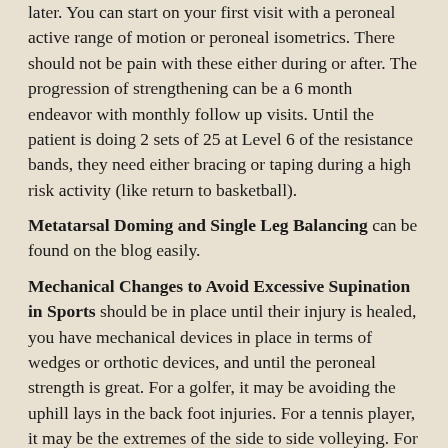later. You can start on your first visit with a peroneal active range of motion or peroneal isometrics. There should not be pain with these either during or after. The progression of strengthening can be a 6 month endeavor with monthly follow up visits. Until the patient is doing 2 sets of 25 at Level 6 of the resistance bands, they need either bracing or taping during a high risk activity (like return to basketball).
Metatarsal Doming and Single Leg Balancing can be found on the blog easily.
Mechanical Changes to Avoid Excessive Supination in Sports should be in place until their injury is healed, you have mechanical devices in place in terms of wedges or orthotic devices, and until the peroneal strength is great. For a golfer, it may be avoiding the uphill lays in the back foot injuries. For a tennis player, it may be the extremes of the side to side volleying. For a basketball player, it may be leaving their feet on a drive that has to be avoided. For a ballet dancer, the mechanics of their en pointe work should be evaluated. This list goes on looking for the signs that the peroneals could be overly stressed.